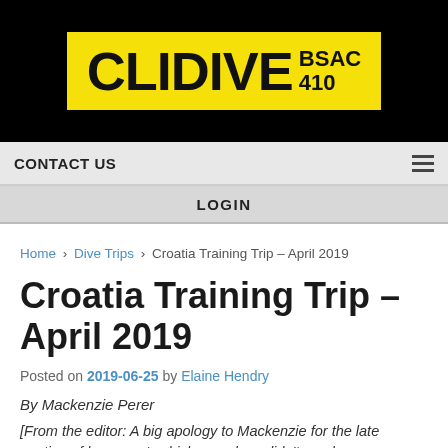[Figure (logo): CLIDIVE BSAC 410 logo, yellow background with bold black text]
CONTACT US
LOGIN
Home › Dive Trips › Croatia Training Trip – April 2019
Croatia Training Trip – April 2019
Posted on 2019-06-25 by Elaine Hendry
By Mackenzie Perer
[From the editor: A big apology to Mackenzie for the late posting of her report, which somehow didn't reach me. Mackenzie and husband Luca trained with us at the end of 2018, and the